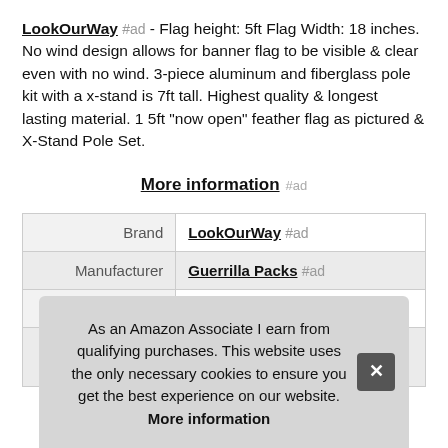LookOurWay #ad - Flag height: 5ft Flag Width: 18 inches. No wind design allows for banner flag to be visible & clear even with no wind. 3-piece aluminum and fiberglass pole kit with a x-stand is 7ft tall. Highest quality & longest lasting material. 1 5ft "now open" feather flag as pictured & X-Stand Pole Set.
More information #ad
|  |  |
| --- | --- |
| Brand | LookOurWay #ad |
| Manufacturer | Guerrilla Packs #ad |
| Height | 84 Inches |
As an Amazon Associate I earn from qualifying purchases. This website uses the only necessary cookies to ensure you get the best experience on our website. More information